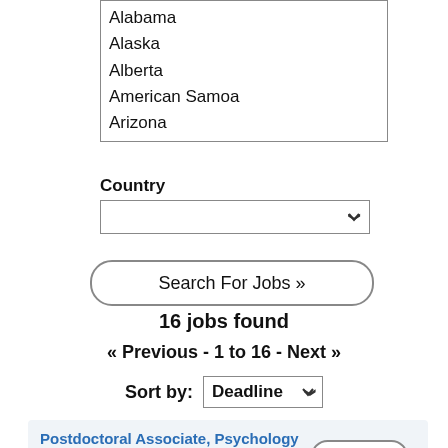Alabama
Alaska
Alberta
American Samoa
Arizona
Country
[Figure (screenshot): Country dropdown select box (empty selection)]
Search For Jobs »
16 jobs found
« Previous - 1 to 16 - Next »
Sort by: Deadline
Postdoctoral Associate, Psychology
University at Buffalo, The State University of New York